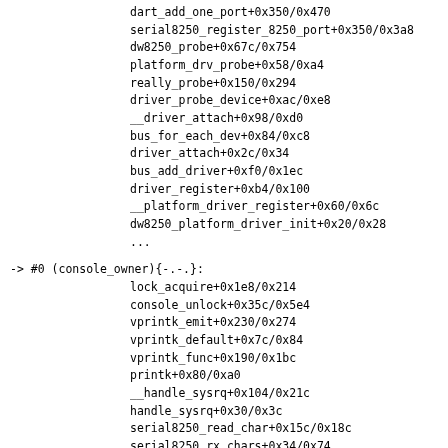dart_add_one_port+0x350/0x470
serial8250_register_8250_port+0x350/0x3a8
dw8250_probe+0x67c/0x754
platform_drv_probe+0x58/0xa4
really_probe+0x150/0x294
driver_probe_device+0xac/0xe8
__driver_attach+0x98/0xd0
bus_for_each_dev+0x84/0xc8
driver_attach+0x2c/0x34
bus_add_driver+0xf0/0x1ec
driver_register+0xb4/0x100
__platform_driver_register+0x60/0x6c
dw8250_platform_driver_init+0x20/0x28
...
-> #0 (console_owner){-.-.}:
   lock_acquire+0x1e8/0x214
   console_unlock+0x35c/0x5e4
   vprintk_emit+0x230/0x274
   vprintk_default+0x7c/0x84
   vprintk_func+0x190/0x1bc
   printk+0x80/0xa0
   __handle_sysrq+0x104/0x21c
   handle_sysrq+0x30/0x3c
   serial8250_read_char+0x15c/0x18c
   serial8250_rx_chars+0x34/0x74
   serial8250_handle_irq+0x9c/0xe4
   dw8250_handle_irq+0x98/0xcc
   serial8250_interrupt+0x50/0xe8
   ...